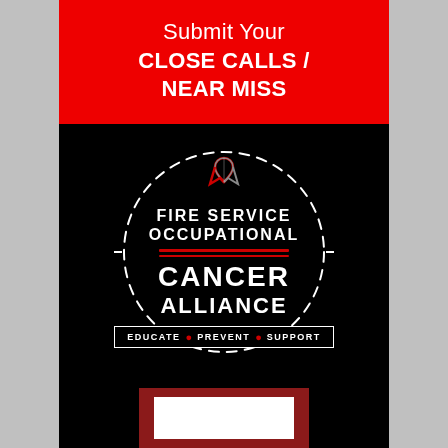Submit Your CLOSE CALLS / NEAR MISS
[Figure (logo): Fire Service Occupational Cancer Alliance logo on black background: dashed circle outline, cancer awareness ribbon at top, text 'FIRE SERVICE OCCUPATIONAL' with red horizontal lines, large 'CANCER ALLIANCE' text, and a box reading 'EDUCATE • PREVENT • SUPPORT']
[Figure (other): Partially visible red-bordered white box at bottom of page]